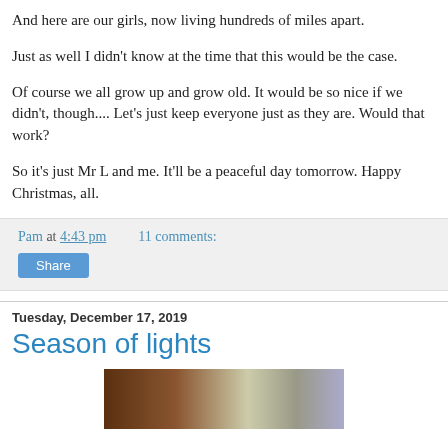And here are our girls, now living hundreds of miles apart.
Just as well I didn't know at the time that this would be the case.
Of course we all grow up and grow old. It would be so nice if we didn't, though.... Let's just keep everyone just as they are. Would that work?
So it's just Mr L and me. It'll be a peaceful day tomorrow. Happy Christmas, all.
Pam at 4:43 pm    11 comments:
Share
Tuesday, December 17, 2019
Season of lights
[Figure (photo): Partial thumbnail image of a photo, cropped at bottom of page]